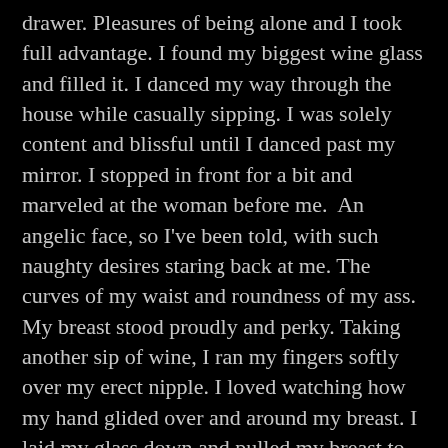drawer. Pleasures of being alone and I took full advantage. I found my biggest wine glass and filled it. I danced my way through the house while casually sipping. I was solely content and blissful until I danced past my mirror. I stopped in front for a bit and marveled at the woman before me.  An angelic face, so I've been told, with such naughty desires staring back at me. The curves of my waist and roundness of my ass. My breast stood proudly and perky. Taking another sip of wine, I ran my fingers softly over my erect nipple. I loved watching how my hand glided over and around my breast. I laid my glass down and pulled my breast to my mouth. Watching myself, seducing myself, I brought my nipple to meet my tongue. I sucked and licked, until I felt myself getting wet. I ran my hands slowly down my stomach, enjoying every...